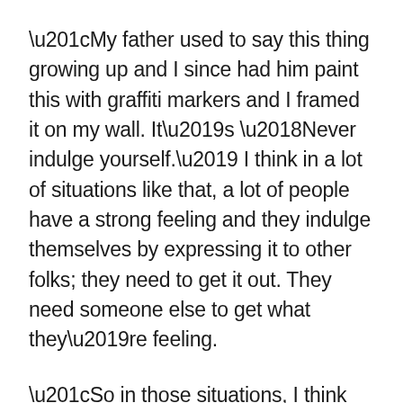“My father used to say this thing growing up and I since had him paint this with graffiti markers and I framed it on my wall. It’s ‘Never indulge yourself.’ I think in a lot of situations like that, a lot of people have a strong feeling and they indulge themselves by expressing it to other folks; they need to get it out. They need someone else to get what they’re feeling.
“So in those situations, I think you need to play it slow. Play it smart. Don’t give an immediate reaction no matter what it is — if it’s three times you price, if it’s one-tenth of your price — ask some questions, ask when